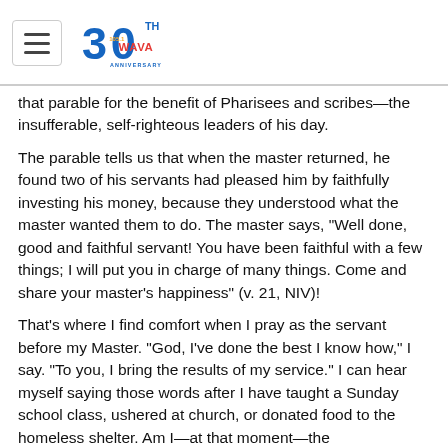WAVA 105.1 30th Anniversary
that parable for the benefit of Pharisees and scribes—the insufferable, self-righteous leaders of his day.
The parable tells us that when the master returned, he found two of his servants had pleased him by faithfully investing his money, because they understood what the master wanted them to do. The master says, "Well done, good and faithful servant! You have been faithful with a few things; I will put you in charge of many things. Come and share your master's happiness" (v. 21, NIV)!
That's where I find comfort when I pray as the servant before my Master. "God, I've done the best I know how," I say. "To you, I bring the results of my service." I can hear myself saying those words after I have taught a Sunday school class, ushered at church, or donated food to the homeless shelter. Am I—at that moment—the